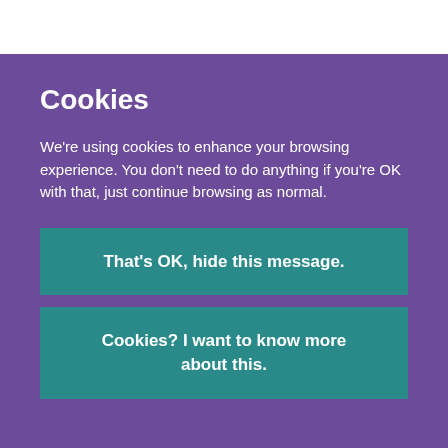Cookies
We're using cookies to enhance your browsing experience. You don't need to do anything if you're OK with that, just continue browsing as normal.
That's OK, hide this message.
Cookies? I want to know more about this.